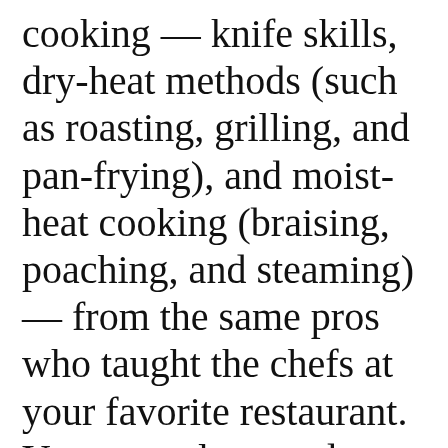cooking — knife skills, dry-heat methods (such as roasting, grilling, and pan-frying), and moist-heat cooking (braising, poaching, and steaming) — from the same pros who taught the chefs at your favorite restaurant. You not only attend lectures and demonstrations, but get to try out your new skills at the